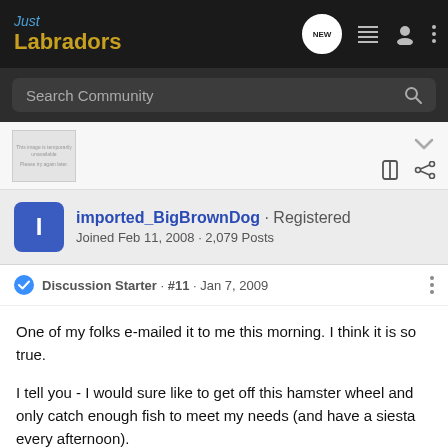Just Labradors
Search Community
[Figure (screenshot): Partially visible image placeholder with unavailable image icon and caption text]
imported_BigBrownDog · Registered
Joined Feb 11, 2008 · 2,079 Posts
Discussion Starter · #11 · Jan 7, 2009
One of my folks e-mailed it to me this morning. I think it is so true.
I tell you - I would sure like to get off this hamster wheel and only catch enough fish to meet my needs (and have a siesta every afternoon).